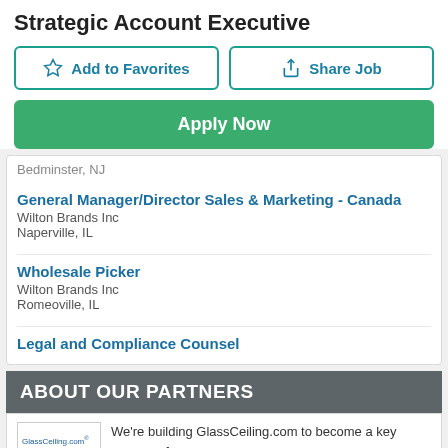Strategic Account Executive
Add to Favorites
Share Job
Apply Now
Bedminster, NJ
General Manager/Director Sales & Marketing - Canada
Wilton Brands Inc
Naperville, IL
Wholesale Picker
Wilton Brands Inc
Romeoville, IL
Legal and Compliance Counsel
ABOUT OUR PARTNERS
We're building GlassCeiling.com to become a key resource for women